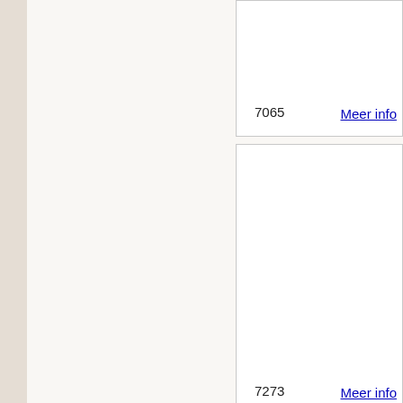| 7065 | Meer info |
| 7273 | Meer info |
| 7409 | Meer info |